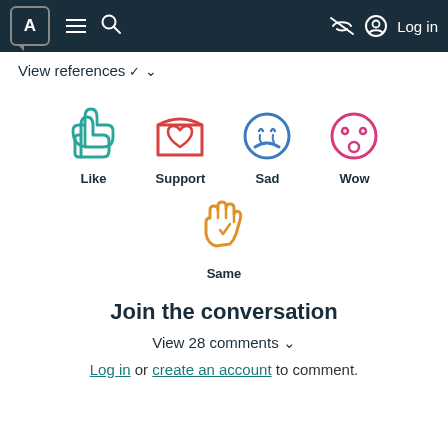[Figure (screenshot): Navigation bar with logo, hamburger menu, search icon, eye-slash icon, and Log in button on dark background]
View references ✓
[Figure (infographic): Five reaction icons: Like (teal thumbs up), Support (red envelope with heart), Sad (blue sad face), Wow (pink shocked face), Same (orange waving hand)]
Join the conversation
View 28 comments ✓
Log in or create an account to comment.